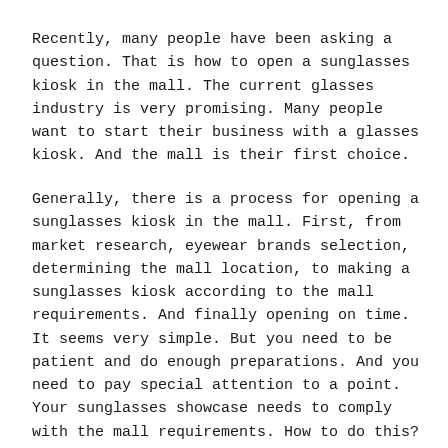Recently, many people have been asking a question. That is how to open a sunglasses kiosk in the mall. The current glasses industry is very promising. Many people want to start their business with a glasses kiosk. And the mall is their first choice.
Generally, there is a process for opening a sunglasses kiosk in the mall. First, from market research, eyewear brands selection, determining the mall location, to making a sunglasses kiosk according to the mall requirements. And finally opening on time. It seems very simple. But you need to be patient and do enough preparations. And you need to pay special attention to a point. Your sunglasses showcase needs to comply with the mall requirements. How to do this? Usually you need to seriously consider the following three key points.